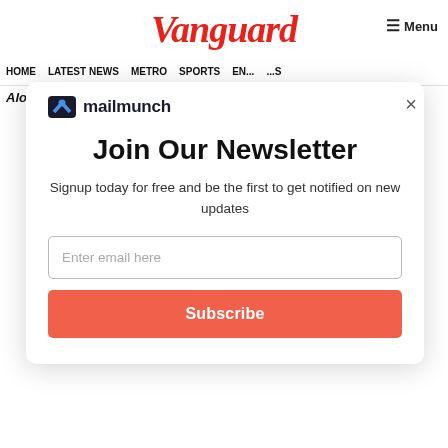Vanguard
Menu
HOME   LATEST NEWS   METRO   SPORTS   ENTERTAINMENT   VIDEOS
Alomo Bitters Celebrates the African Youth...
[Figure (logo): mailmunch logo with blue M icon and wordmark]
Join Our Newsletter
Signup today for free and be the first to get notified on new updates
Enter email here
Subscribe